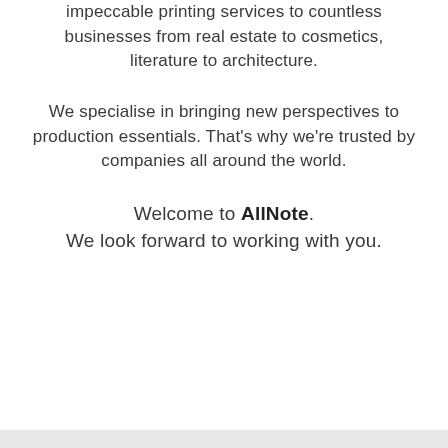impeccable printing services to countless businesses from real estate to cosmetics, literature to architecture.
We specialise in bringing new perspectives to production essentials. That's why we're trusted by companies all around the world.
Welcome to AllNote. We look forward to working with you.